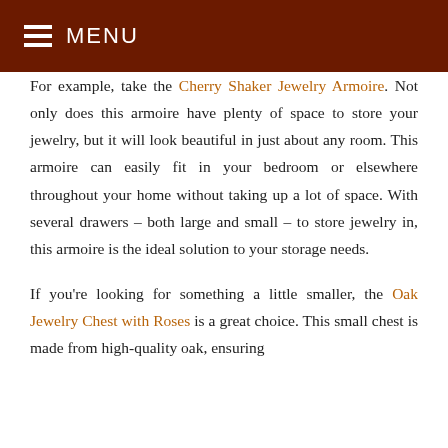MENU
For example, take the Cherry Shaker Jewelry Armoire. Not only does this armoire have plenty of space to store your jewelry, but it will look beautiful in just about any room. This armoire can easily fit in your bedroom or elsewhere throughout your home without taking up a lot of space. With several drawers – both large and small – to store jewelry in, this armoire is the ideal solution to your storage needs.
If you're looking for something a little smaller, the Oak Jewelry Chest with Roses is a great choice. This small chest is made from high-quality oak, ensuring